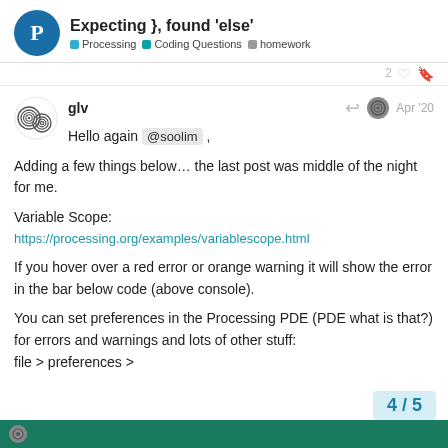Expecting }, found 'else' — Processing · Coding Questions · homework
glv — Apr '20
Hello again @soolim ,
Adding a few things below… the last post was middle of the night for me.
Variable Scope:
https://processing.org/examples/variablescope.html
If you hover over a red error or orange warning it will show the error in the bar below code (above console).
You can set preferences in the Processing PDE (PDE what is that?) for errors and warnings and lots of other stuff:
file > preferences >
4 / 5